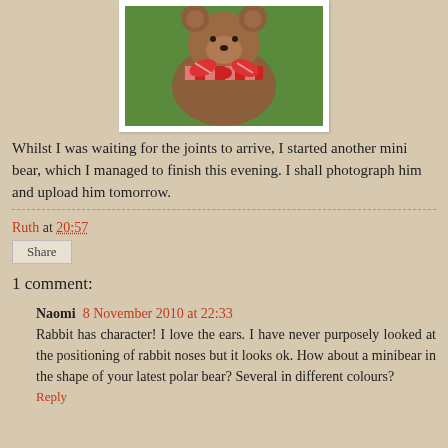[Figure (photo): A brown teddy bear with a red and white gingham ribbon bow, photographed outdoors with green foliage in the background.]
Whilst I was waiting for the joints to arrive, I started another mini bear, which I managed to finish this evening. I shall photograph him and upload him tomorrow.
Ruth at 20:57
Share
1 comment:
Naomi  8 November 2010 at 22:33
Rabbit has character! I love the ears. I have never purposely looked at the positioning of rabbit noses but it looks ok. How about a minibear in the shape of your latest polar bear? Several in different colours?